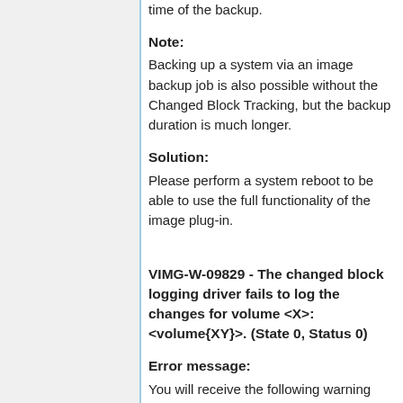time of the backup.
Note:
Backing up a system via an image backup job is also possible without the Changed Block Tracking, but the backup duration is much longer.
Solution:
Please perform a system reboot to be able to use the full functionality of the image plug-in.
VIMG-W-09829 - The changed block logging driver fails to log the changes for volume <X>:<volume{XY}>. (State 0, Status 0)
Error message:
You will receive the following warning message in the log file:
VIMG-W-09829 The changed block...